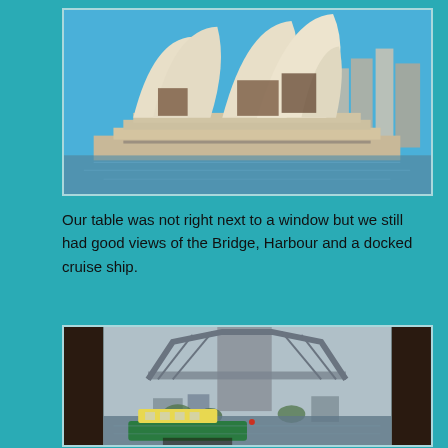[Figure (photo): Sydney Opera House viewed from the water, showing iconic white shell-like roof structures against a bright blue sky, with city buildings visible in the background]
Our table was not right next to a window but we still had good views of the Bridge, Harbour and a docked cruise ship.
[Figure (photo): View through a window of the Sydney Harbour Bridge tower and steel arch structure, with a green and yellow ferry boat visible on the harbour below, and trees and buildings in the background]